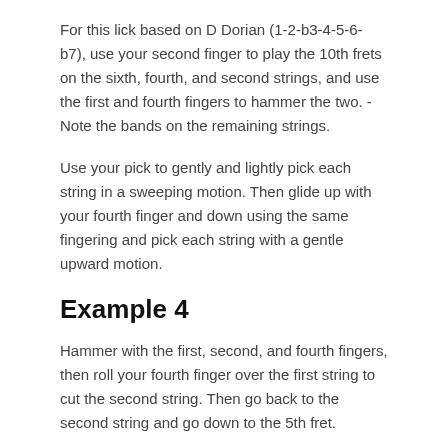For this lick based on D Dorian (1-2-b3-4-5-6-b7), use your second finger to play the 10th frets on the sixth, fourth, and second strings, and use the first and fourth fingers to hammer the two. - Note the bands on the remaining strings.
Use your pick to gently and lightly pick each string in a sweeping motion. Then glide up with your fourth finger and down using the same fingering and pick each string with a gentle upward motion.
Example 4
Hammer with the first, second, and fourth fingers, then roll your fourth finger over the first string to cut the second string. Then go back to the second string and go down to the 5th fret.
After completing this seven-note phrase, slide up a rung and repeat the fingering in the new position. Repeat this method